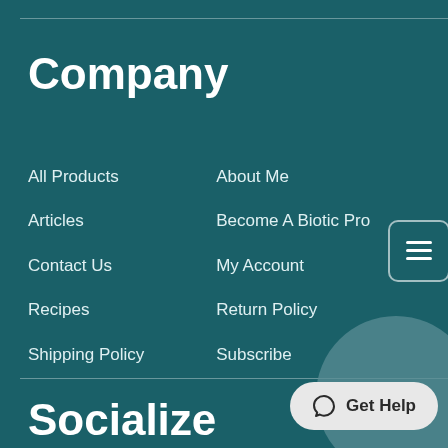Company
All Products
About Me
Articles
Become A Biotic Pro
Contact Us
My Account
Recipes
Return Policy
Shipping Policy
Subscribe
Socialize